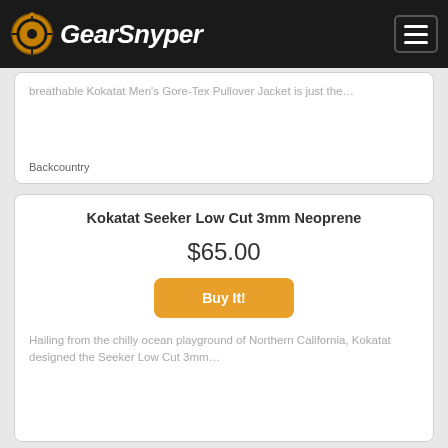GearSnyper
breathable Kokatat Men's Gore-Tex Pullover Jacket is just the…
Backcountry
Kokatat Seeker Low Cut 3mm Neoprene
$65.00
Buy It!
Hailing from the chilly ocean playground of Northern California, Kokatat designed the Seeker Low Cut 3mm…